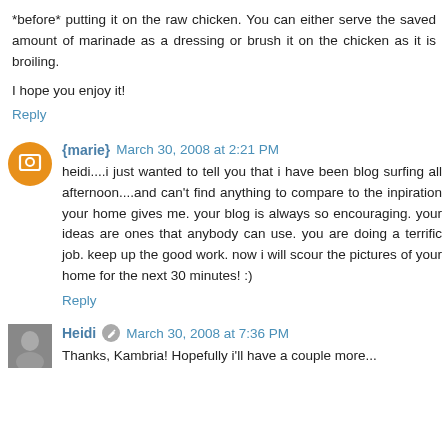*before* putting it on the raw chicken. You can either serve the saved amount of marinade as a dressing or brush it on the chicken as it is broiling.
I hope you enjoy it!
Reply
{marie} March 30, 2008 at 2:21 PM
heidi....i just wanted to tell you that i have been blog surfing all afternoon....and can't find anything to compare to the inpiration your home gives me. your blog is always so encouraging. your ideas are ones that anybody can use. you are doing a terrific job. keep up the good work. now i will scour the pictures of your home for the next 30 minutes! :)
Reply
Heidi March 30, 2008 at 7:36 PM
Thanks, Kambria! Hopefully i'll have a couple more...